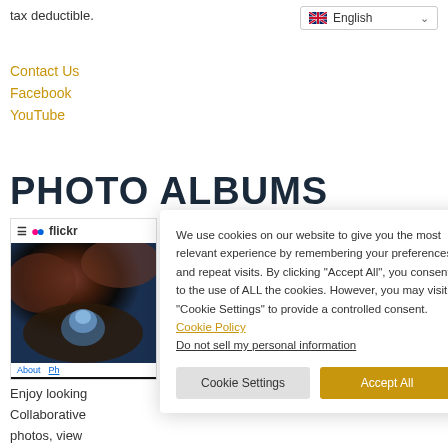tax deductible.
English
Contact Us
Facebook
YouTube
PHOTO ALBUMS
[Figure (screenshot): Flickr website screenshot showing a rock arch ocean photo]
We use cookies on our website to give you the most relevant experience by remembering your preferences and repeat visits. By clicking "Accept All", you consent to the use of ALL the cookies. However, you may visit "Cookie Settings" to provide a controlled consent. Cookie Policy
Do not sell my personal information
Enjoy looking ... Collaborative ... photos, view ... marine reserve.